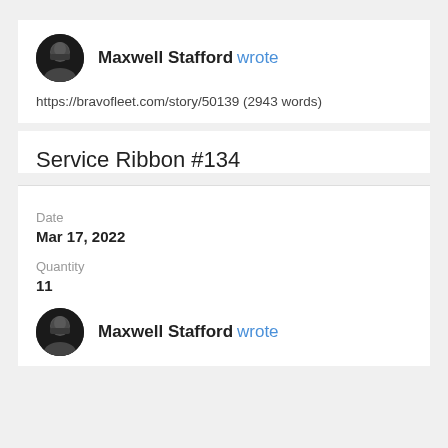Maxwell Stafford wrote
https://bravofleet.com/story/50139 (2943 words)
Service Ribbon #134
Date
Mar 17, 2022
Quantity
11
Maxwell Stafford wrote